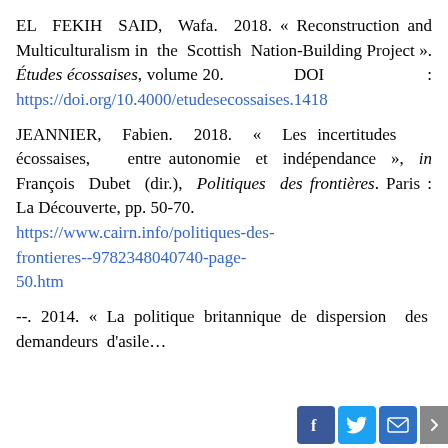EL FEKIH SAID, Wafa. 2018. « Reconstruction and Multiculturalism in the Scottish Nation-Building Project ». Études écossaises, volume 20. DOI : https://doi.org/10.4000/etudesecossaises.1418
JEANNIER, Fabien. 2018. « Les incertitudes écossaises, entre autonomie et indépendance », in François Dubet (dir.), Politiques des frontières. Paris : La Découverte, pp. 50-70. https://www.cairn.info/politiques-des-frontieres--9782348040740-page-50.htm
--. 2014. « La politique britannique de dispersion des demandeurs d'asile...